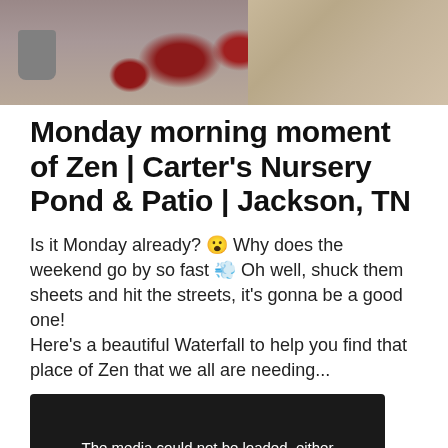[Figure (photo): Top portion of a garden/nursery photo showing red flowering plants and rocks/gravel with brown and grey tones]
Monday morning moment of Zen | Carter's Nursery Pond & Patio | Jackson, TN
Is it Monday already? 😮 Why does the weekend go by so fast 💨 Oh well, shuck them sheets and hit the streets, it's gonna be a good one!
Here's a beautiful Waterfall to help you find that place of Zen that we all are needing...
[Figure (screenshot): Video player showing error message: The media could not be loaded, either because the server or network failed or because the format is not supported.]